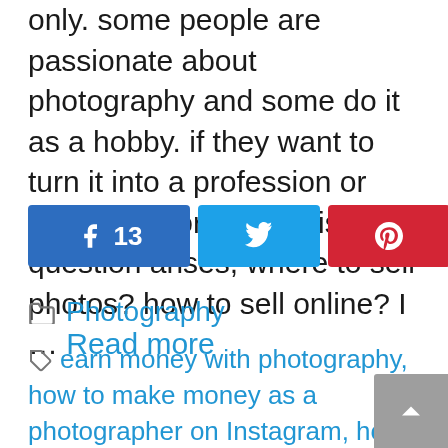only. some people are passionate about photography and some do it as a hobby. if they want to turn it into a profession or part-time work then this question arises, where to sell photos? how to sell online? I … Read more
[Figure (infographic): Social share buttons row: Facebook (13), Twitter, Pinterest, LinkedIn, and share count 13 SHARES]
Photography
earn money with photography, how to make money as a photographer on Instagram, how to make money from photography as a teenager, how to make money with a photography blog, how to make money with photography hobby, how